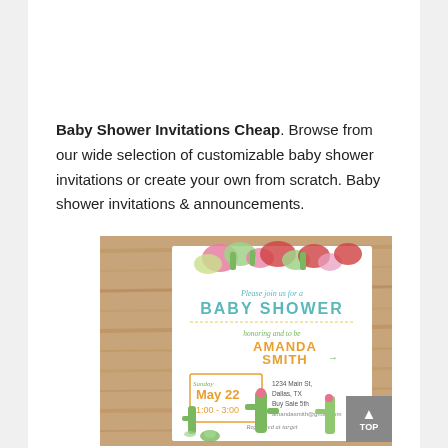Baby Shower Invitations Cheap. Browse from our wide selection of customizable baby shower invitations or create your own from scratch. Baby shower invitations & announcements.
[Figure (photo): A baby shower invitation card featuring cactus and succulent watercolor illustrations. The card reads 'Please join us for a BABY SHOWER honoring Amanda Smith' with date Sunday May 22, placed on a wooden background. A 'TOP' scroll-to-top button is visible in the bottom right corner.]